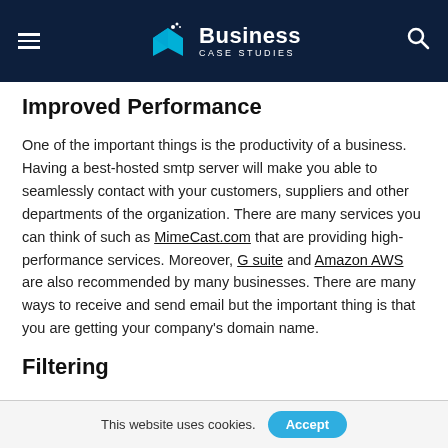Business Case Studies
Improved Performance
One of the important things is the productivity of a business. Having a best-hosted smtp server will make you able to seamlessly contact with your customers, suppliers and other departments of the organization. There are many services you can think of such as MimeCast.com that are providing high-performance services. Moreover, G suite and Amazon AWS are also recommended by many businesses. There are many ways to receive and send email but the important thing is that you are getting your company's domain name.
Filtering
This website uses cookies.